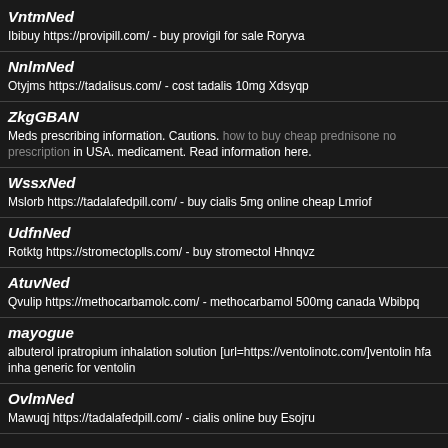VntmNed
Ibibuy https://provipill.com/ - buy provigil for sale Roryva
NnlmNed
Otyjms https://tadalisus.com/ - cost tadalis 10mg Xdsyqp
ZkgGBAN
Meds prescribing information. Cautions. how to buy cheap prednisone no prescription in USA. medicament. Read information here.
WssxNed
Mslorb https://tadalafedpill.com/ - buy cialis 5mg online cheap Lmriof
UdfnNed
Rotktg https://stromectoplls.com/ - buy stromectol Hhnqvz
AtuvNed
Qvulip https://methocarbamolc.com/ - methocarbamol 500mg canada Wbibpq
mayogue
albuterol ipratropium inhalation solution [url=https://ventolinotc.com/]ventolin hfa inha generic for ventolin
OvlmNed
Mawuqj https://tadalafedpill.com/ - cialis online buy Esojru